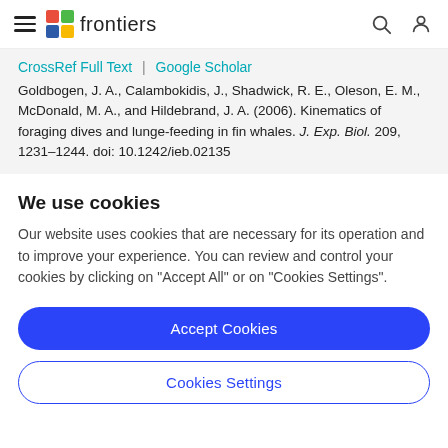frontiers
CrossRef Full Text | Google Scholar
Goldbogen, J. A., Calambokidis, J., Shadwick, R. E., Oleson, E. M., McDonald, M. A., and Hildebrand, J. A. (2006). Kinematics of foraging dives and lunge-feeding in fin whales. J. Exp. Biol. 209, 1231–1244. doi: 10.1242/ieb.02135
We use cookies
Our website uses cookies that are necessary for its operation and to improve your experience. You can review and control your cookies by clicking on "Accept All" or on "Cookies Settings".
Accept Cookies
Cookies Settings